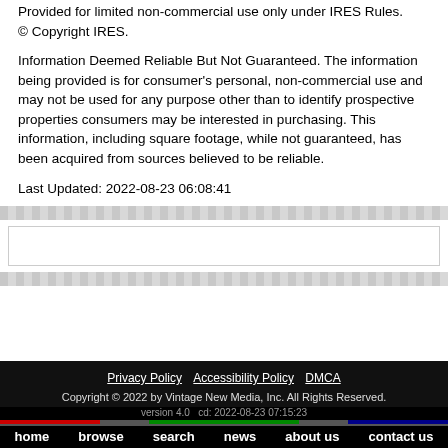Provided for limited non-commercial use only under IRES Rules. © Copyright IRES.
Information Deemed Reliable But Not Guaranteed. The information being provided is for consumer's personal, non-commercial use and may not be used for any purpose other than to identify prospective properties consumers may be interested in purchasing. This information, including square footage, while not guaranteed, has been acquired from sources believed to be reliable.
Last Updated: 2022-08-23 06:08:41
Privacy Policy  Accessibility Policy  DMCA
Copyright © 2022 by Vintage New Media, Inc. All Rights Reserved.
version 4.0  cd: 2022-08-23 07:15:23
home  browse  search  news  about us  contact us